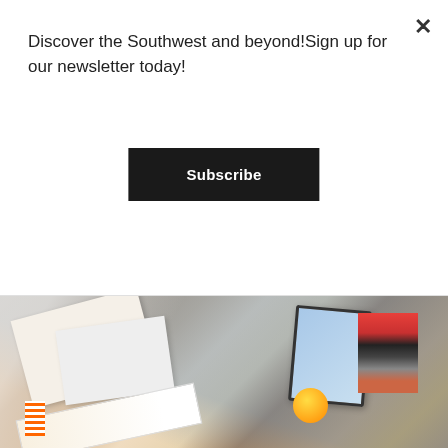Discover the Southwest and beyond!Sign up for our newsletter today!
Subscribe
Quinn at Seattle Town Hall
July 20, 2022  -  Leave a Comment
When someone recommends a book to you that you end up loving, something special happens: ...
READ MORE
[Figure (photo): Overhead view of a wooden table with open notebooks, books stacked, a tablet device, an orange, and other items scattered on the surface.]